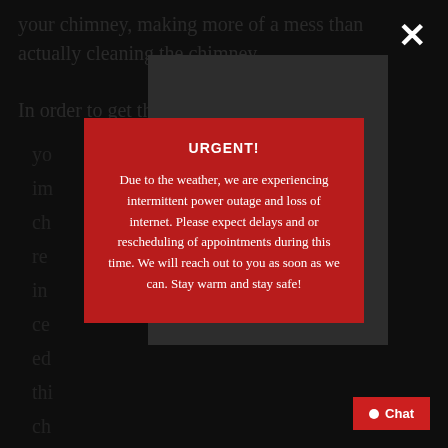your chimney, making more of a mess than actually cleaning the chimney.
In order to get the best service possible for you...
URGENT!
Due to the weather, we are experiencing intermittent power outage and loss of internet. Please expect delays and or rescheduling of appointments during this time. We will reach out to you as soon as we can. Stay warm and stay safe!
Chat